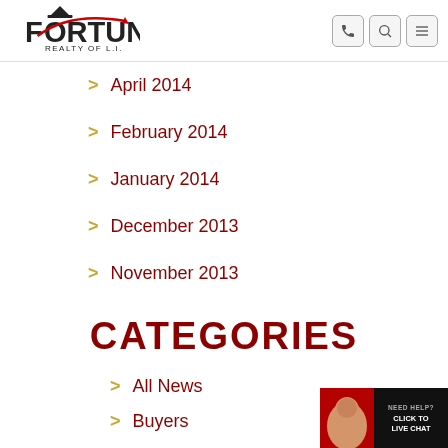Fortune Realty of L.I.
April 2014
February 2014
January 2014
December 2013
November 2013
CATEGORIES
All News
Buyers